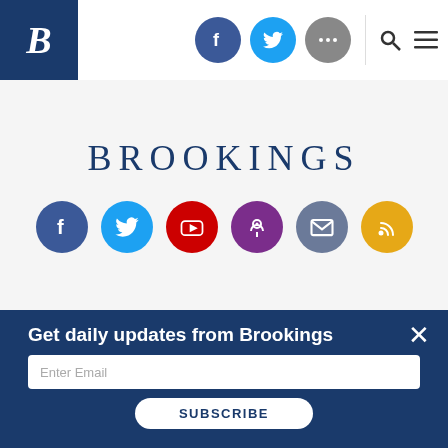Brookings Institution website header with logo and social/navigation icons
[Figure (screenshot): Brookings Institution website footer section showing BROOKINGS wordmark and six social media icons: Facebook, Twitter, YouTube, Podcast, Email, RSS]
Get daily updates from Brookings
Enter Email
SUBSCRIBE